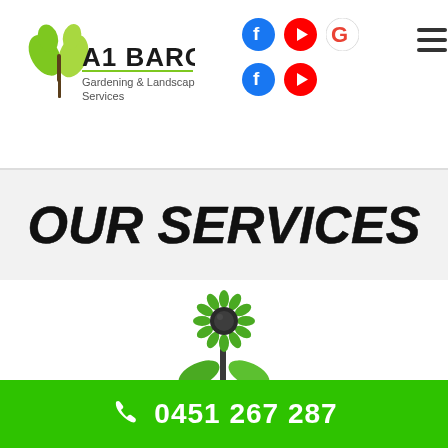[Figure (logo): A1 Bargain Gardening & Landscaping Services logo with green plant/shovel graphic]
[Figure (infographic): Social media icons: Facebook (blue), YouTube (red), Google (G) in top row; Facebook and YouTube in second row. Hamburger menu icon on far right.]
OUR SERVICES
[Figure (illustration): Green flower/sunflower icon with leaves, gardening services icon]
Landscaping
0451 267 287